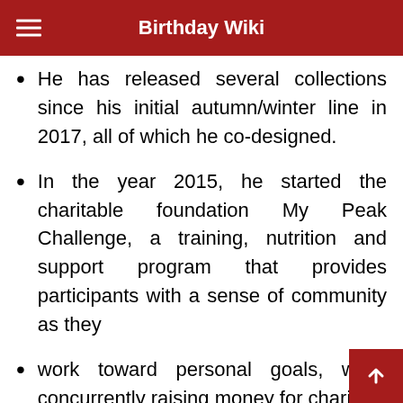Birthday Wiki
He has released several collections since his initial autumn/winter line in 2017, all of which he co-designed.
In the year 2015, he started the charitable foundation My Peak Challenge, a training, nutrition and support program that provides participants with a sense of community as they
work toward personal goals, while concurrently raising money for charity.